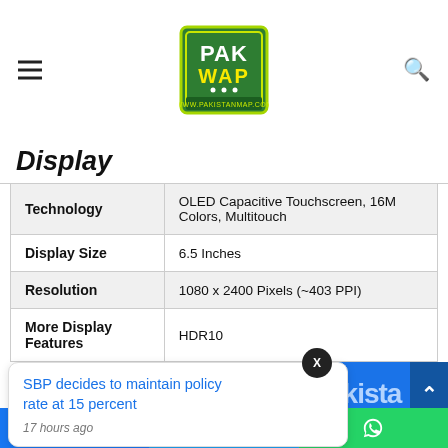[Figure (logo): PakWap logo — green and yellow badge with text PAK WAP and www.pakistanmap.com]
Display
|  |  |
| --- | --- |
| Technology | OLED Capacitive Touchscreen, 16M Colors, Multitouch |
| Display Size | 6.5 Inches |
| Resolution | 1080 x 2400 Pixels (~403 PPI) |
| More Display Features | HDR10 |
SBP decides to maintain policy rate at 15 percent
17 hours ago